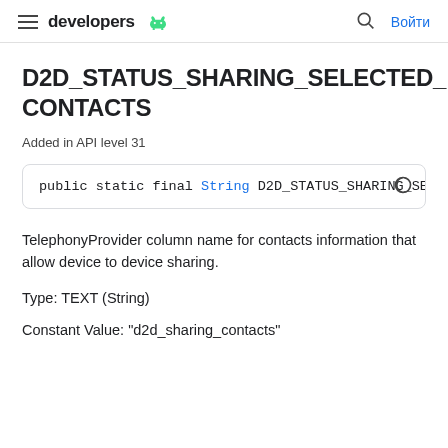developers
D2D_STATUS_SHARING_SELECTED_CONTACTS
Added in API level 31
public static final String D2D_STATUS_SHARING_SELECT…
TelephonyProvider column name for contacts information that allow device to device sharing.
Type: TEXT (String)
Constant Value: "d2d_sharing_contacts"